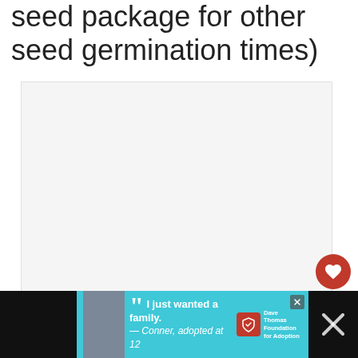seed package for other seed germination times)
[Figure (other): Large empty content area, light gray background]
[Figure (other): Like/favorite button (red circle with heart icon), count 435, and share button (white circle with share icon)]
WHAT'S NEXT → Simple Tips for...
[Figure (other): Advertisement banner: Dave Thomas Foundation for Adoption. Quote: I just wanted a family. — Conner, adopted at 12]